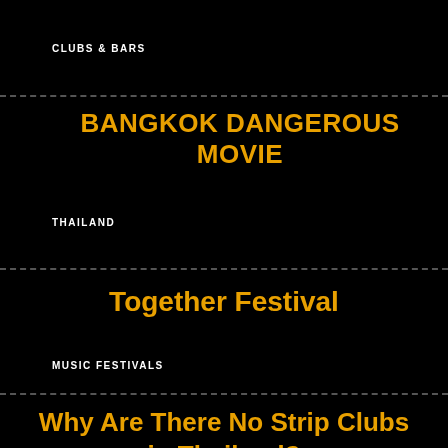CLUBS & BARS
BANGKOK DANGEROUS MOVIE
THAILAND
Together Festival
MUSIC FESTIVALS
Why Are There No Strip Clubs in Thailand?